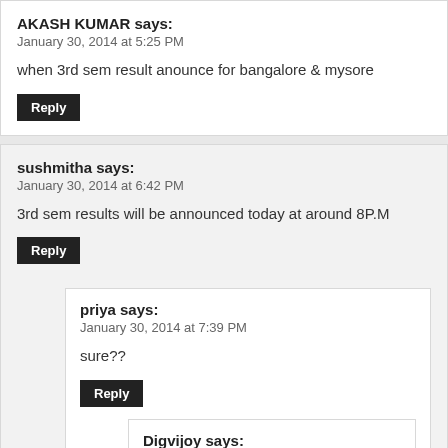AKASH KUMAR says:
January 30, 2014 at 5:25 PM
when 3rd sem result anounce for bangalore & mysore
Reply
sushmitha says:
January 30, 2014 at 6:42 PM
3rd sem results will be announced today at around 8P.M
Reply
priya says:
January 30, 2014 at 7:39 PM
sure??
Reply
Digvijoy says:
January 30, 2014 at 7:55 PM
I think they will announce mysore first then bangalore. Bt the site has b are uploading it!!